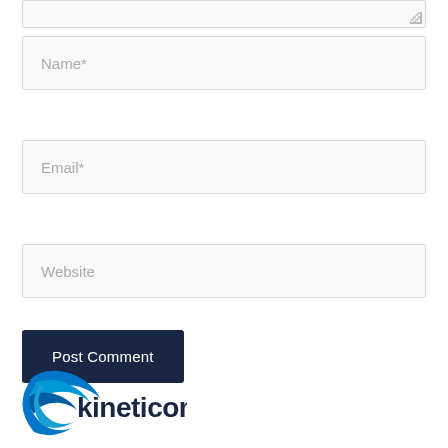[Figure (screenshot): Comment form partial view showing textarea stub at top with resize handle]
Name*
Email*
Website
Post Comment
[Figure (logo): Kineticom logo with blue swoosh arc and bold dark navy text reading 'kineticom']